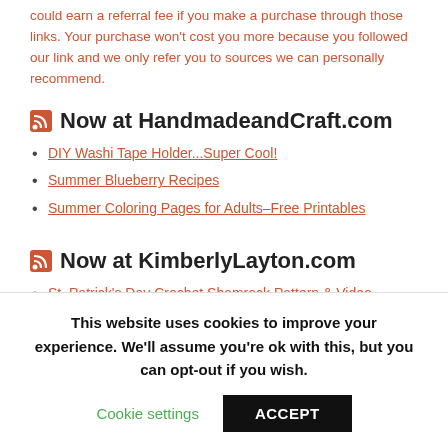could earn a referral fee if you make a purchase through those links. Your purchase won't cost you more because you followed our link and we only refer you to sources we can personally recommend.
Now at HandmadeandCraft.com
DIY Washi Tape Holder...Super Cool!
Summer Blueberry Recipes
Summer Coloring Pages for Adults–Free Printables
Now at KimberlyLayton.com
St. Patrick's Day Crochet Shamrock Pattern & Video Tutorial
This website uses cookies to improve your experience. We'll assume you're ok with this, but you can opt-out if you wish.
Cookie settings  ACCEPT